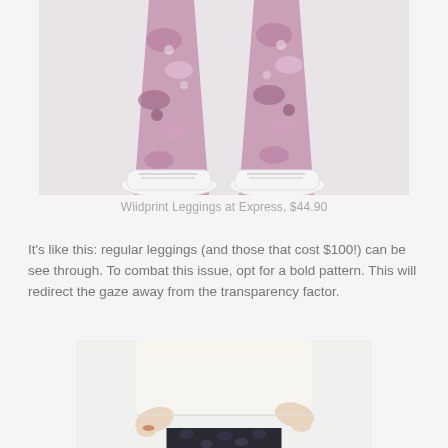[Figure (photo): Close-up of a model's legs wearing floral/wildprint leggings in pink, purple and white tones, paired with white lace-up sneakers, against a light gray background.]
Wiidprint Leggings at Express, $44.90
It's like this: regular leggings (and those that cost $100!) can be see through. To combat this issue, opt for a bold pattern. This will redirect the gaze away from the transparency factor.
[Figure (photo): Model wearing a white tunic top and dark patterned leggings, shown from waist down, with hands visible at sides.]